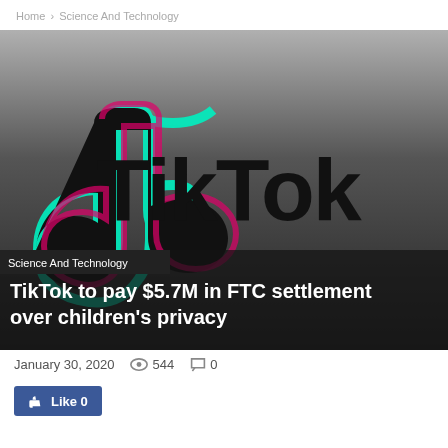Home › Science And Technology
[Figure (logo): TikTok logo on dark gradient background — the TikTok musical note icon with teal and pink glitch effect on the left, and 'TikTok' text in bold black lettering on the right, over a dark-to-medium gray gradient background]
Science And Technology
TikTok to pay $5.7M in FTC settlement over children's privacy
January 30, 2020   👁 544   💬 0
👍 Like 0